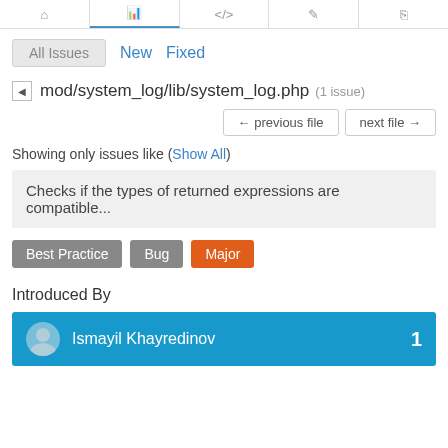All Issues | New | Fixed
mod/system_log/lib/system_log.php (1 issue)
← previous file  next file →
Showing only issues like (Show All)
Checks if the types of returned expressions are compatible...
Best Practice  Bug  Major
Introduced By
Ismayil Khayredinov  1